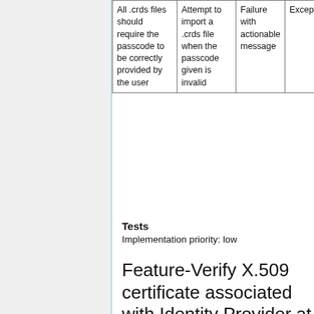| All .crds files should require the passcode to be correctly provided by the user | Attempt to import a .crds file when the passcode given is invalid | Failure with actionable message | Exception no error notification |
Tests
Implementation priority: low
Feature-Verify X.509 certificate associated with Identity Provider at time of